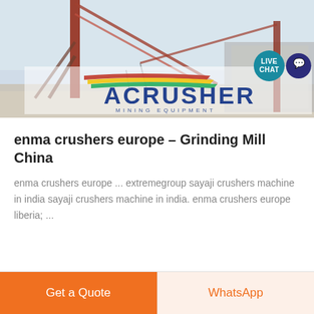[Figure (photo): Industrial mining equipment with cranes and conveyor structures under a hazy sky. ACRUSHER mining equipment logo overlaid with colorful striped design.]
enma crushers europe – Grinding Mill China
enma crushers europe ... extremegroup sayaji crushers machine in india sayaji crushers machine in india. enma crushers europe liberia; ...
Get a Quote
WhatsApp